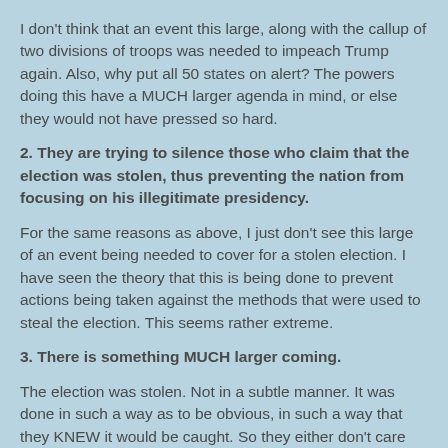I don't think that an event this large, along with the callup of two divisions of troops was needed to impeach Trump again. Also, why put all 50 states on alert? The powers doing this have a MUCH larger agenda in mind, or else they would not have pressed so hard.
2. They are trying to silence those who claim that the election was stolen, thus preventing the nation from focusing on his illegitimate presidency.
For the same reasons as above, I just don't see this large of an event being needed to cover for a stolen election. I have seen the theory that this is being done to prevent actions being taken against the methods that were used to steal the election. This seems rather extreme.
3. There is something MUCH larger coming.
The election was stolen. Not in a subtle manner. It was done in such a way as to be obvious, in such a way that they KNEW it would be caught. So they either don't care that they will be caught, or they WANTED to be caught.